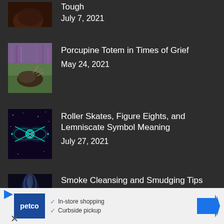[Figure (photo): Partial view of a bear/animal thumbnail, dark reddish-brown tones]
Tough
July 7, 2021
[Figure (photo): Porcupine in green field with purple wildflowers in background]
Porcupine Totem in Times of Grief
May 24, 2021
[Figure (photo): Lemniscate (infinity symbol) glowing teal on dark background]
Roller Skates, Figure Eights, and Lemniscate Symbol Meaning
July 27, 2021
[Figure (photo): Smoke or spirit figure in dark blue/purple tones]
Smoke Cleansing and Smudging Tips
July 15, 2021
[Figure (other): Petco advertisement banner with in-store shopping and curbside pickup text]